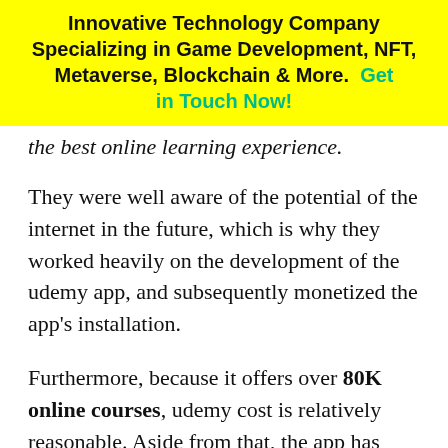Innovative Technology Company Specializing in Game Development, NFT, Metaverse, Blockchain & More. Get in Touch Now!
the best online learning experience.
They were well aware of the potential of the internet in the future, which is why they worked heavily on the development of the udemy app, and subsequently monetized the app's installation.
Furthermore, because it offers over 80K online courses, udemy cost is relatively reasonable. Aside from that, the app has roughly 35 million users worldwide.
Because of the increased demand, you will